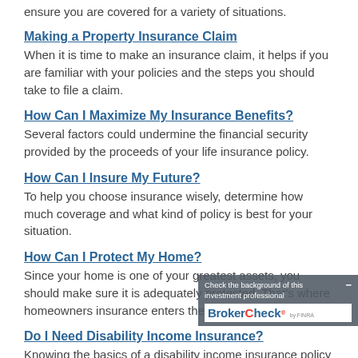ensure you are covered for a variety of situations.
Making a Property Insurance Claim
When it is time to make an insurance claim, it helps if you are familiar with your policies and the steps you should take to file a claim.
How Can I Maximize My Insurance Benefits?
Several factors could undermine the financial security provided by the proceeds of your life insurance policy.
How Can I Insure My Future?
To help you choose insurance wisely, determine how much coverage and what kind of policy is best for your situation.
How Can I Protect My Home?
Since your home is one of your greatest assets, you should make sure it is adequately protected. That's where homeowners insurance enters the picture.
Do I Need Disability Income Insurance?
Knowing the basics of a disability income insurance policy is a good first step toward protecting your